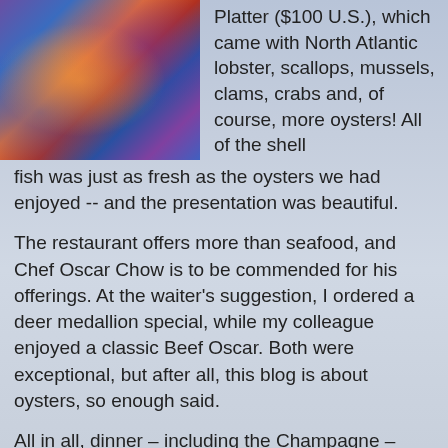[Figure (photo): Colorful seafood platter photo showing lobster and shellfish with blue/purple/orange hues]
Platter ($100 U.S.), which came with North Atlantic lobster, scallops, mussels, clams, crabs and, of course, more oysters! All of the shell fish was just as fresh as the oysters we had enjoyed -- and the presentation was beautiful.
The restaurant offers more than seafood, and Chef Oscar Chow is to be commended for his offerings. At the waiter's suggestion, I ordered a deer medallion special, while my colleague enjoyed a classic Beef Oscar. Both were exceptional, but after all, this blog is about oysters, so enough said.
All in all, dinner – including the Champagne –  was just under $400 (U.S.). An expensive, but worthwhile treat, which I highly recommend.
The Oyster & Wine Bar
Sheraton Hong Kong Hotel & Towers
20 Nathan Road
Tsim Sha Tsui